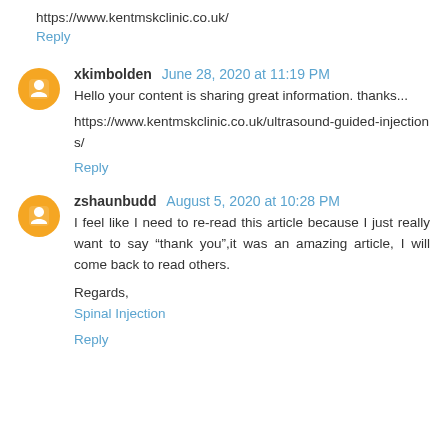https://www.kentmskclinic.co.uk/
Reply
xkimbolden June 28, 2020 at 11:19 PM
Hello your content is sharing great information. thanks...
https://www.kentmskclinic.co.uk/ultrasound-guided-injections/
Reply
zshaunbudd August 5, 2020 at 10:28 PM
I feel like I need to re-read this article because I just really want to say “thank you”,it was an amazing article, I will come back to read others.
Regards,
Spinal Injection
Reply